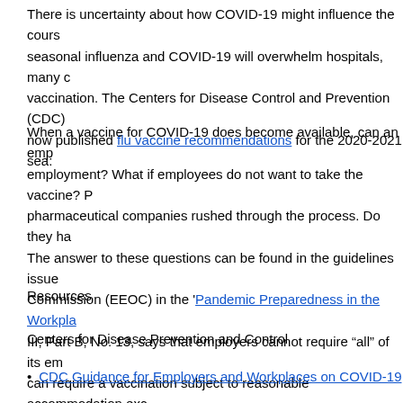There is uncertainty about how COVID-19 might influence the course of seasonal influenza and COVID-19 will overwhelm hospitals, many of vaccination. The Centers for Disease Control and Prevention (CDC) now published flu vaccine recommendations for the 2020-2021 sea...
When a vaccine for COVID-19 does become available, can an employer require vaccination as a condition of employment? What if employees do not want to take the vaccine? Perhaps because they believe the pharmaceutical companies rushed through the process. Do they have to take it? The answer to these questions can be found in the guidelines issued by the Equal Employment Opportunity Commission (EEOC) in the 'Pandemic Preparedness in the Workplace' III, Part B, No. 13, says that employers cannot require "all" of its employees to vaccinate but can require a vaccination subject to reasonable accommodation exceptions for disability or religious beliefs. EEOC suggests that "ADA-covered employers consider encouraging the influenza vaccine rather than requiring them to take it." Noting that * no vaccine available for COVID-19.
Resources
Centers for Disease Prevention and Control
CDC Guidance for Employers and Workplaces on COVID-19